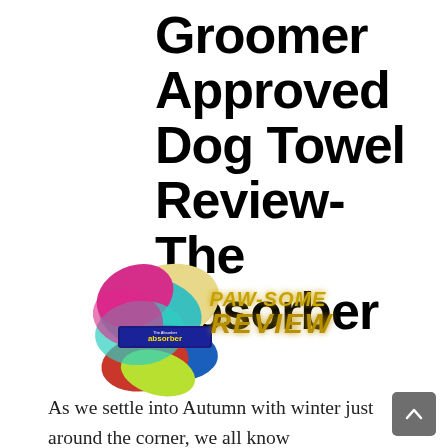Groomer Approved Dog Towel Review- The Absorber
[Figure (photo): Product photo of The Absorber dog towels bundled together in multiple colors (magenta, teal, yellow, blue, red) with the product label visible, next to stylized text reading 'PAW-SOME REVIEW' in gold/yellow italic font with a glow effect.]
As we settle into Autumn with winter just around the corner, we all know